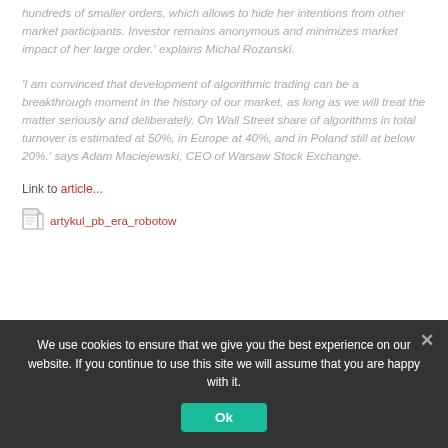hundreds of smaller orders, which allows to hide her intentions from other market participants. Investor remains anonymous and minimizes market impact of her large order.' explains Michal Rozanski.
'I am convinced that development of algorithmic trading can be a breakthrough moment in the history of our market, as long as we will treat the matter seriously and deliberately. On Wall Street share of algorithms in total turnover is estimated at 50%, in Europe at 40%, and in Poland still at below 20%.' says Adam Maciejewski, CEO of Warsaw Stock Exchange.
Link to article...
[Figure (other): Document icon with link text: artykul_pb_era_robotow]
We use cookies to ensure that we give you the best experience on our website. If you continue to use this site we will assume that you are happy with it.